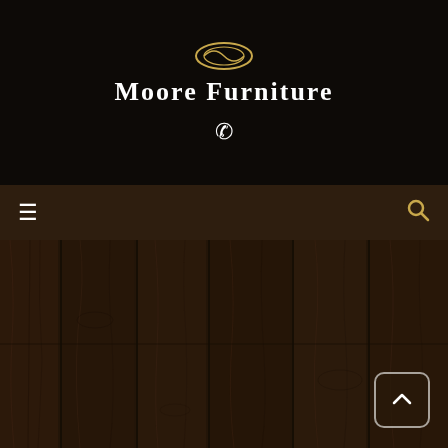[Figure (logo): Moore Furniture logo with golden emblem and white brand name text on black background, with a phone icon below]
Moore Furniture
[Figure (screenshot): Dark wood panel texture background filling the lower portion of the page]
[Figure (other): Back to top button with upward chevron arrow in bottom right corner]